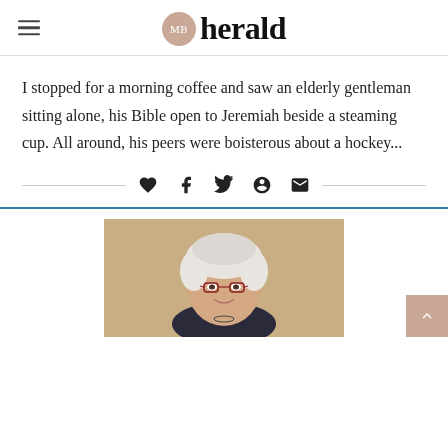MB herald
I stopped for a morning coffee and saw an elderly gentleman sitting alone, his Bible open to Jeremiah beside a steaming cup. All around, his peers were boisterous about a hockey...
[Figure (other): Social share icons bar: heart, Facebook, Twitter, Pinterest, email envelope, centered with horizontal lines on either side]
[Figure (photo): Portrait photo of an elderly woman with white hair, glasses, and a dark top, smiling at the camera against a tan/beige background]